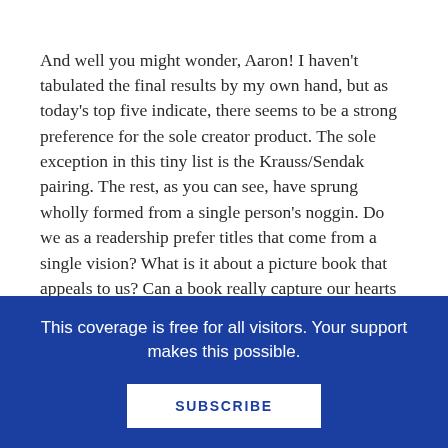And well you might wonder, Aaron!  I haven't tabulated the final results by my own hand, but as today's top five indicate, there seems to be a strong preference for the sole creator product.  The sole exception in this tiny list is the Krauss/Sendak pairing.  The rest, as you can see, have sprung wholly formed from a single person's noggin.  Do we as a readership prefer titles that come from a single vision?  What is it about a picture book that appeals to us?  Can a book really capture our hearts and minds fully if two people come together, or is better from just one?
More statistics on this idea to come.  For now, further results.  I have been asked to include the point spread for these books.  I will do so along with their rankings, though I would like to
This coverage is free for all visitors. Your support makes this possible.
SUBSCRIBE